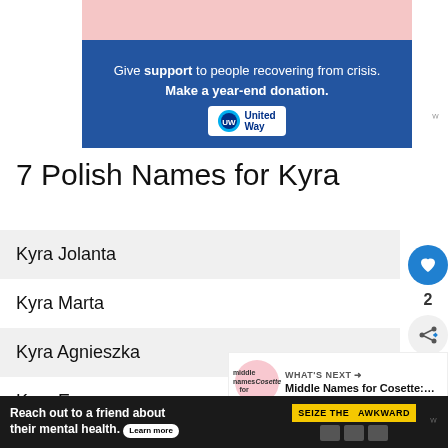[Figure (screenshot): United Way advertisement banner: blue background with text 'Give support to people recovering from crisis. Make a year-end donation.' and United Way logo]
7 Polish Names for Kyra
Kyra Jolanta
Kyra Marta
Kyra Agnieszka
Kyra Ewa
Kyra Katarzyna
Kyra Barbara
[Figure (screenshot): Bottom advertisement: 'Reach out to a friend about their mental health. Learn more' with 'SEIZE THE AWKWARD' yellow badge on dark background]